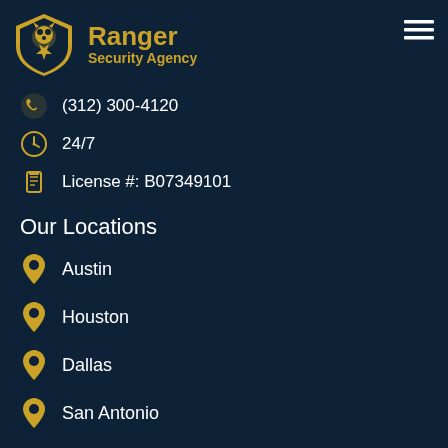[Figure (logo): Ranger Security Agency shield logo with lion head and star, gold color]
Ranger Security Agency
(312) 300-4120
24/7
License #: B07349101
Our Locations
Austin
Houston
Dallas
San Antonio